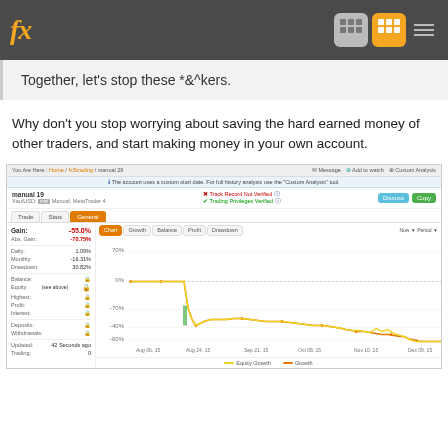fx — navigation header with icon buttons
Together, let's stop these *&^kers.
Why don't you stop worrying about saving the hard earned money of other traders, and start making money in your own account.
[Figure (screenshot): Screenshot of an FX trading platform showing account 'manual 19' with XAUUSD trading on MetaTrader 4. Shows gain of -55.0%, abs gain -70.75%, daily 1.09%, monthly -16.31%, drawdown 30.82%. Chart tab is active showing equity growth (yellow) and growth (orange) lines from Aug 2015 to Dec 2015, declining sharply from 0% to around -55%, with a vertical green bar around Aug 24.]